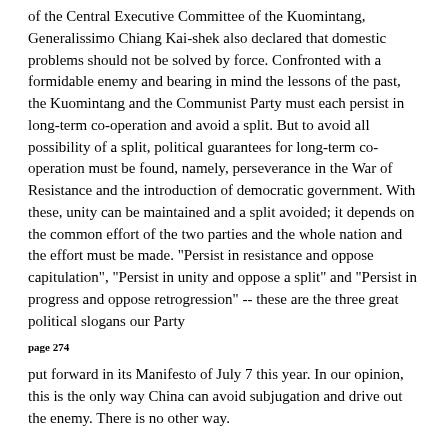of the Central Executive Committee of the Kuomintang, Generalissimo Chiang Kai-shek also declared that domestic problems should not be solved by force. Confronted with a formidable enemy and bearing in mind the lessons of the past, the Kuomintang and the Communist Party must each persist in long-term co-operation and avoid a split. But to avoid all possibility of a split, political guarantees for long-term co-operation must be found, namely, perseverance in the War of Resistance and the introduction of democratic government. With these, unity can be maintained and a split avoided; it depends on the common effort of the two parties and the whole nation and the effort must be made. "Persist in resistance and oppose capitulation", "Persist in unity and oppose a split" and "Persist in progress and oppose retrogression" -- these are the three great political slogans our Party
page 274
put forward in its Manifesto of July 7 this year. In our opinion, this is the only way China can avoid subjugation and drive out the enemy. There is no other way.